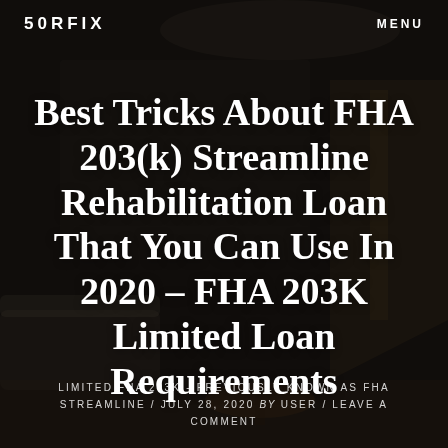50RFIX   MENU
Best Tricks About FHA 203(k) Streamline Rehabilitation Loan That You Can Use In 2020 – FHA 203K Limited Loan Requirements
LIMITED FHA 203K - PREVIOUSLY KNOWN AS FHA STREAMLINE / JULY 28, 2020 by USER / LEAVE A COMMENT